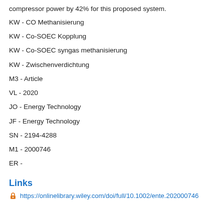compressor power by 42% for this proposed system.
KW - CO Methanisierung
KW - Co-SOEC Kopplung
KW - Co-SOEC syngas methanisierung
KW - Zwischenverdichtung
M3 - Article
VL - 2020
JO - Energy Technology
JF - Energy Technology
SN - 2194-4288
M1 - 2000746
ER -
Links
https://onlinelibrary.wiley.com/doi/full/10.1002/ente.202000746